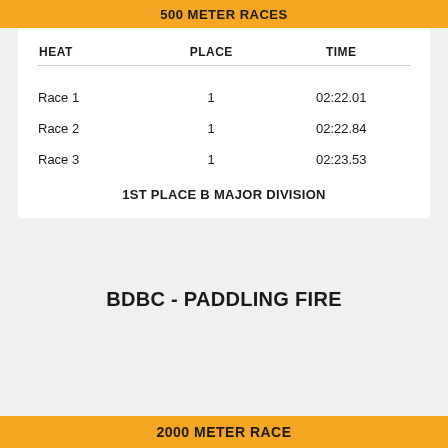500 METER RACES
| HEAT | PLACE | TIME |
| --- | --- | --- |
| Race 1 | 1 | 02:22.01 |
| Race 2 | 1 | 02:22.84 |
| Race 3 | 1 | 02:23.53 |
1ST PLACE B MAJOR DIVISION
BDBC - PADDLING FIRE
2000 METER RACE